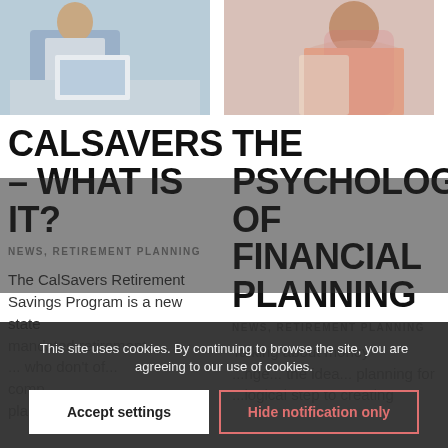[Figure (photo): Person sitting at desk working on laptop, office setting, blue-grey tones]
[Figure (photo): Woman with long dark hair in pink checkered shirt, thoughtful expression]
CALSAVERS – WHAT IS IT?
THE PSYCHOLOGY OF FINANCIAL PLANNING
NEWS, RETIREMENT PLANNING
NEWS, RETIREMENT PLANNING
The CalSavers Retirement Savings Program is a new state mandated retirement
Talking about money challenges, the idea of planning for
This site uses cookies. By continuing to browse the site, you are agreeing to our use of cookies.